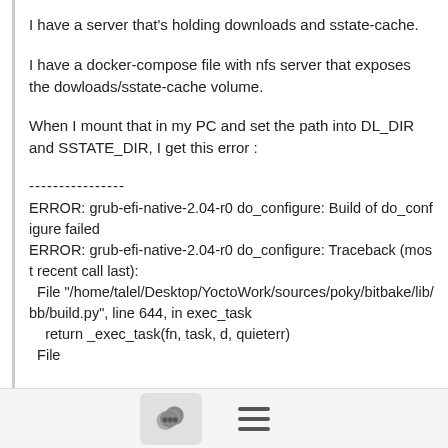I have a server that's holding downloads and sstate-cache.
I have a docker-compose file with nfs server that exposes the dowloads/sstate-cache volume.
When I mount that in my PC and set the path into DL_DIR and SSTATE_DIR, I get this error :
----------------
ERROR: grub-efi-native-2.04-r0 do_configure: Build of do_configure failed
ERROR: grub-efi-native-2.04-r0 do_configure: Traceback (most recent call last):
  File "/home/talel/Desktop/YoctoWork/sources/poky/bitbake/lib/bb/build.py", line 644, in exec_task
    return _exec_task(fn, task, d, quieterr)
  File